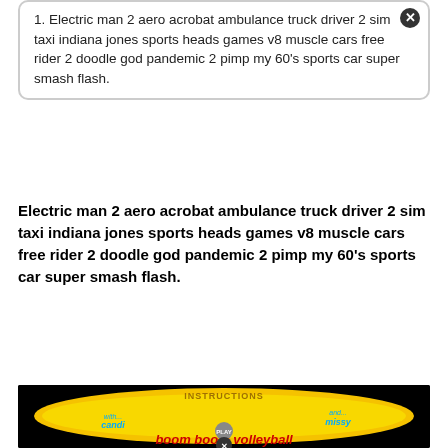1. Electric man 2 aero acrobat ambulance truck driver 2 sim taxi indiana jones sports heads games v8 muscle cars free rider 2 doodle god pandemic 2 pimp my 60's sports car super smash flash.
Electric man 2 aero acrobat ambulance truck driver 2 sim taxi indiana jones sports heads games v8 muscle cars free rider 2 doodle god pandemic 2 pimp my 60's sports car super smash flash.
[Figure (screenshot): Game screenshot for 'boom boom volleyball' showing two cartoon female characters named Candi and Missy on a yellow oval background with INSTRUCTIONS text at top and PLAY button, on black background.]